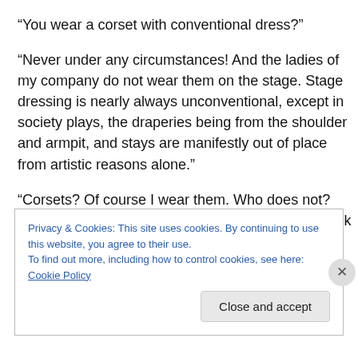“You wear a corset with conventional dress?”
“Never under any circumstances! And the ladies of my company do not wear them on the stage. Stage dressing is nearly always unconventional, except in society plays, the draperies being from the shoulder and armpit, and stays are manifestly out of place from artistic reasons alone.”
“Corsets? Of course I wear them. Who does not? Think of me as ‘Nadjy’ with nothing to tie those black spangles to.
Privacy & Cookies: This site uses cookies. By continuing to use this website, you agree to their use.
To find out more, including how to control cookies, see here: Cookie Policy
Close and accept